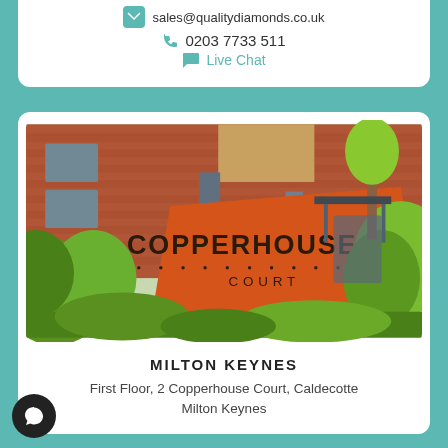sales@qualitydiamonds.co.uk
0203 7733 511
Live Chat
[Figure (photo): Exterior photo of Copperhouse Court building in Milton Keynes, showing a red/orange signage board with 'COPPERHOUSE COURT' text, surrounded by green shrubs and a brick office building behind.]
MILTON KEYNES
First Floor, 2 Copperhouse Court, Caldecotte
Milton Keynes